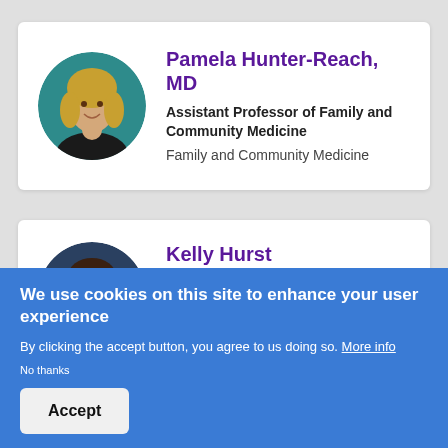[Figure (photo): Circular headshot of Pamela Hunter-Reach, MD, a woman with long blonde hair against a teal background]
Pamela Hunter-Reach, MD
Assistant Professor of Family and Community Medicine
Family and Community Medicine
[Figure (photo): Circular headshot of Kelly Hurst, a woman with dark hair against a dark blue background]
Kelly Hurst
Equity and Inclusion Strategist for the Office of Equity, Diversity, and
We use cookies on this site to enhance your user experience
By clicking the accept button, you agree to us doing so. More info
No thanks
Accept